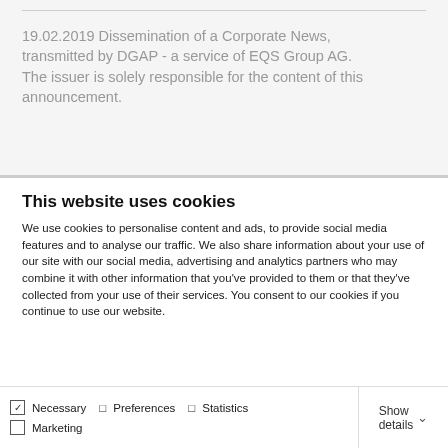19.02.2019 Dissemination of a Corporate News, transmitted by DGAP - a service of EQS Group AG. The issuer is solely responsible for the content of this announcement.
This website uses cookies
We use cookies to personalise content and ads, to provide social media features and to analyse our traffic. We also share information about your use of our site with our social media, advertising and analytics partners who may combine it with other information that you've provided to them or that they've collected from your use of their services. You consent to our cookies if you continue to use our website.
Allow all cookies
Allow selection
Use necessary cookies only
Necessary   Preferences   Statistics   Marketing   Show details